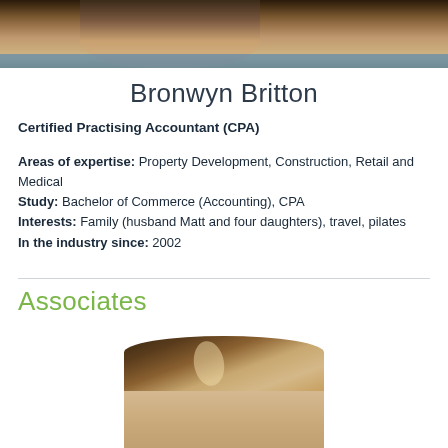[Figure (photo): Partial photo of Bronwyn Britton (top of head/hair visible), cropped at top of page]
Bronwyn Britton
Certified Practising Accountant (CPA)
Areas of expertise: Property Development, Construction, Retail and Medical
Study: Bachelor of Commerce (Accounting), CPA
Interests: Family (husband Matt and four daughters), travel, pilates
In the industry since: 2002
Associates
[Figure (photo): Partial photo of a woman (Associates section), showing top of head and face, brown hair with highlights]